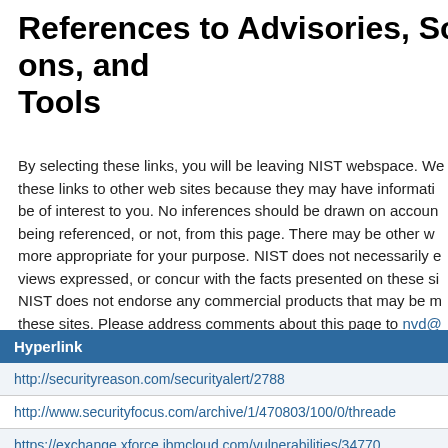References to Advisories, Solutions, and Tools
By selecting these links, you will be leaving NIST webspace. We have provided these links to other web sites because they may have information that would be of interest to you. No inferences should be drawn on account of other sites being referenced, or not, from this page. There may be other web sites that are more appropriate for your purpose. NIST does not necessarily endorse the views expressed, or concur with the facts presented on these sites. Further, NIST does not endorse any commercial products that may be mentioned on these sites. Please address comments about this page to nvd@
| Hyperlink |
| --- |
| http://securityreason.com/securityalert/2788 |
| http://www.securityfocus.com/archive/1/470803/100/0/threade |
| https://exchange.xforce.ibmcloud.com/vulnerabilities/34770 |